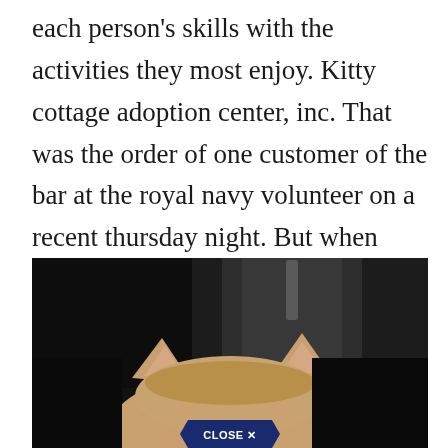each person's skills with the activities they most enjoy. Kitty cottage adoption center, inc. That was the order of one customer of the bar at the royal navy volunteer on a recent thursday night. But when she's done, it's scooter she runs to, who firmly tells charlie that it is enough.
[Figure (photo): Close-up photo of the top of a cat's head (orange/tan colored ears visible) against a dark background, with a large dark cylindrical object (lamp or container) behind it. A 'CLOSE X' button overlay appears at the bottom center of the image.]